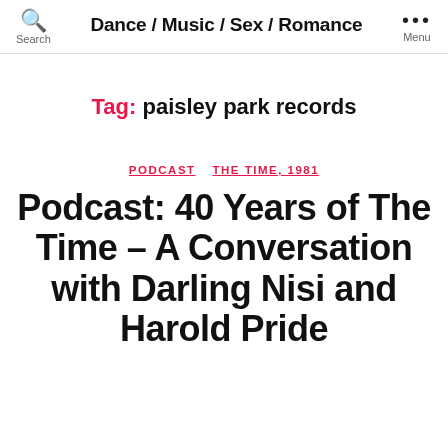Dance / Music / Sex / Romance
Tag: paisley park records
PODCAST  THE TIME, 1981
Podcast: 40 Years of The Time – A Conversation with Darling Nisi and Harold Pride